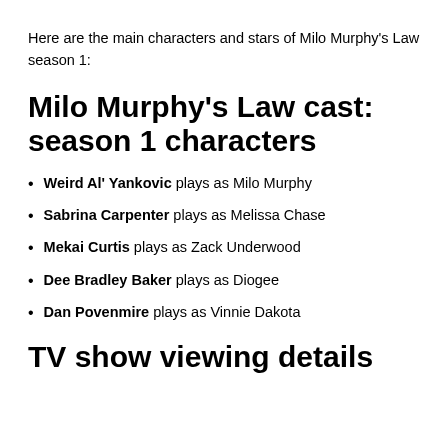Here are the main characters and stars of Milo Murphy's Law season 1:
Milo Murphy's Law cast: season 1 characters
Weird Al' Yankovic plays as Milo Murphy
Sabrina Carpenter plays as Melissa Chase
Mekai Curtis plays as Zack Underwood
Dee Bradley Baker plays as Diogee
Dan Povenmire plays as Vinnie Dakota
TV show viewing details